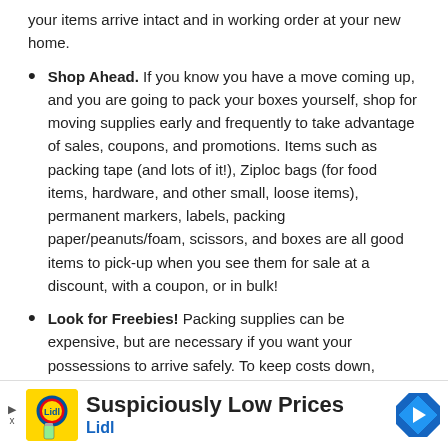your items arrive intact and in working order at your new home.
Shop Ahead. If you know you have a move coming up, and you are going to pack your boxes yourself, shop for moving supplies early and frequently to take advantage of sales, coupons, and promotions. Items such as packing tape (and lots of it!), Ziploc bags (for food items, hardware, and other small, loose items), permanent markers, labels, packing paper/peanuts/foam, scissors, and boxes are all good items to pick-up when you see them for sale at a discount, with a coupon, or in bulk!
Look for Freebies! Packing supplies can be expensive, but are necessary if you want your possessions to arrive safely. To keep costs down,
[Figure (other): Lidl advertisement banner with yellow logo icon, text 'Suspiciously Low Prices' and 'Lidl', and a blue navigation arrow icon.]